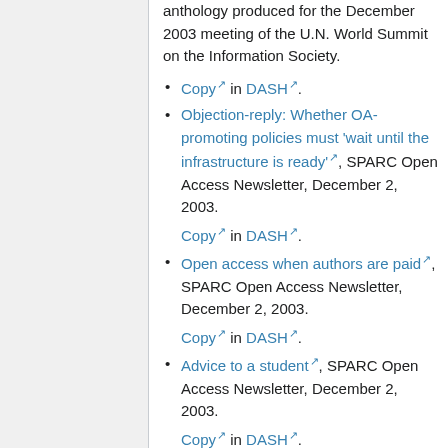anthology produced for the December 2003 meeting of the U.N. World Summit on the Information Society.
Copy in DASH.
Objection-reply: Whether OA-promoting policies must 'wait until the infrastructure is ready', SPARC Open Access Newsletter, December 2, 2003.
Copy in DASH.
Open access when authors are paid, SPARC Open Access Newsletter, December 2, 2003.
Copy in DASH.
Advice to a student, SPARC Open Access Newsletter, December 2, 2003.
Copy in DASH.